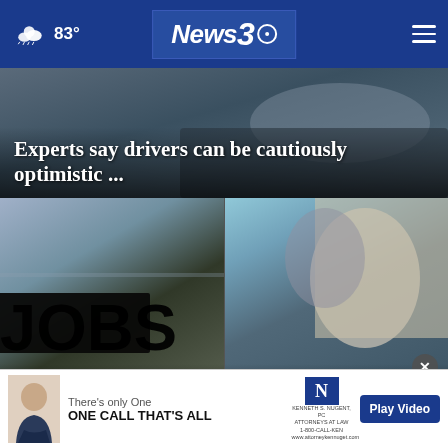News3 | 83°
Experts say drivers can be cautiously optimistic ...
[Figure (photo): Close-up of a car mirror/side panel with blurred background]
[Figure (photo): JOBS sign against blue sky with clouds]
Alabama workforce, wages grow in July
[Figure (photo): Man in MAGA hat speaking with Trump at airfield]
Trump to fundraise for Lee Zeldin in New Jersey
[Figure (photo): Advertisement: Kenneth S. Nugent attorney - There's only One ONE CALL THAT'S ALL 1-800-CALL-KEN]